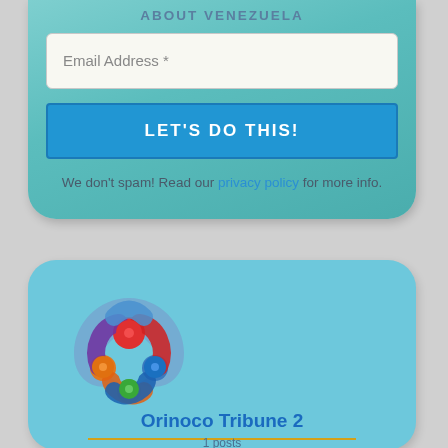ABOUT VENEZUELA
Email Address *
LET'S DO THIS!
We don't spam! Read our privacy policy for more info.
[Figure (logo): Orinoco Tribune 2 logo — colorful interlocking circles forming a trefoil knot shape with blue, purple, red, orange, and green circles]
Orinoco Tribune 2
1 posts